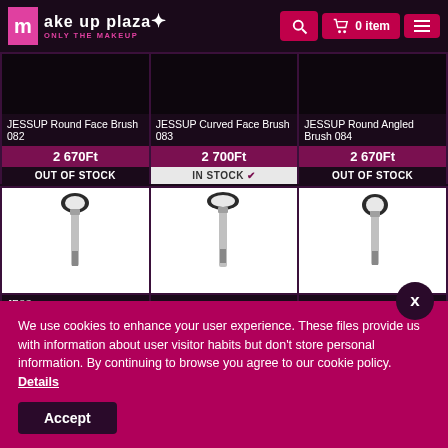make up plaza — ONLY THE MAKEUP | 0 item
JESSUP Round Face Brush 082
2 670Ft
OUT OF STOCK
JESSUP Curved Face Brush 083
2 700Ft
IN STOCK ✔
JESSUP Round Angled Brush 084
2 670Ft
OUT OF STOCK
[Figure (photo): JESSUP makeup brush product photo]
[Figure (photo): JESSUP makeup brush product photo]
[Figure (photo): JESSUP makeup brush product photo]
JESSUP ... Brush
JESSUP ... ore Brush 187
We use cookies to enhance your user experience. These files provide us with information about user visitor habits but don't store personal information. By continuing to browse you agree to our cookie policy. Details
Accept